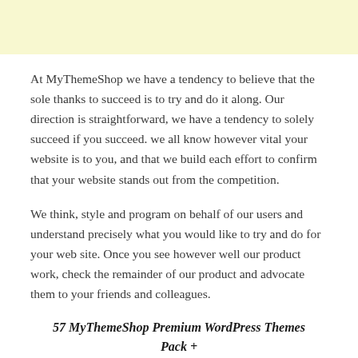[Figure (other): Light yellow banner header area]
At MyThemeShop we have a tendency to believe that the sole thanks to succeed is to try and do it along. Our direction is straightforward, we have a tendency to solely succeed if you succeed. we all know however vital your website is to you, and that we build each effort to confirm that your website stands out from the competition.
We think, style and program on behalf of our users and understand precisely what you would like to try and do for your web site. Once you see however well our product work, check the remainder of our product and advocate them to your friends and colleagues.
57 MyThemeShop Premium WordPress Themes Pack + Updates